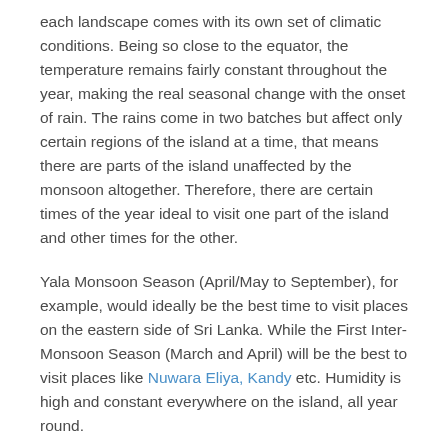each landscape comes with its own set of climatic conditions. Being so close to the equator, the temperature remains fairly constant throughout the year, making the real seasonal change with the onset of rain. The rains come in two batches but affect only certain regions of the island at a time, that means there are parts of the island unaffected by the monsoon altogether. Therefore, there are certain times of the year ideal to visit one part of the island and other times for the other.
Yala Monsoon Season (April/May to September), for example, would ideally be the best time to visit places on the eastern side of Sri Lanka. While the First Inter-Monsoon Season (March and April) will be the best to visit places like Nuwara Eliya, Kandy etc. Humidity is high and constant everywhere on the island, all year round.
First Inter-monsoon Season (March and April)